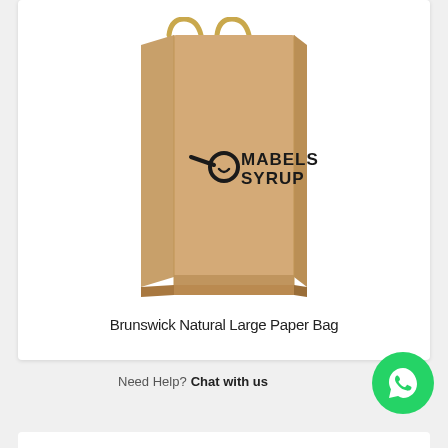[Figure (photo): A kraft brown paper bag with twisted rope handles, printed with the Mabels Syrup logo (a frying pan icon with a circular design and the text MABELS SYRUP in bold dark letters)]
Brunswick Natural Large Paper Bag
Need Help? Chat with us